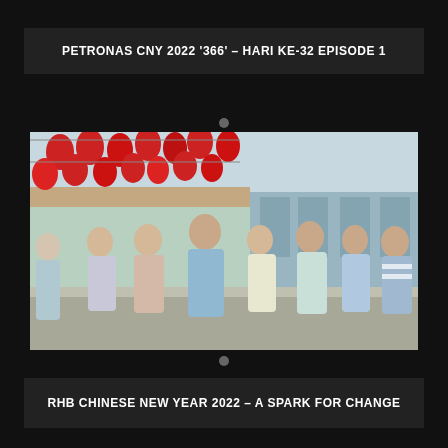PETRONAS CNY 2022 ‘366’ – HARI KE-32 EPISODE 1
[Figure (photo): Group of children and teenagers standing on a street decorated with red Chinese lanterns hung overhead, with shophouses visible in the background. The scene appears to be a Malaysian town during Chinese New Year celebrations.]
RHB CHINESE NEW YEAR 2022 – A SPARK FOR CHANGE